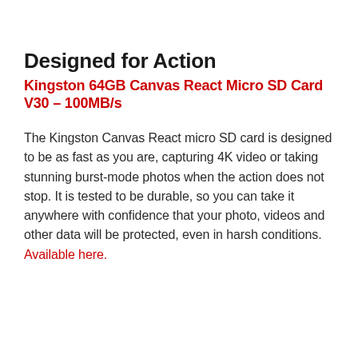Designed for Action
Kingston 64GB Canvas React Micro SD Card V30 – 100MB/s
The Kingston Canvas React micro SD card is designed to be as fast as you are, capturing 4K video or taking stunning burst-mode photos when the action does not stop. It is tested to be durable, so you can take it anywhere with confidence that your photo, videos and other data will be protected, even in harsh conditions. Available here.